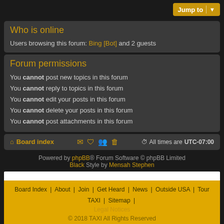Who is online
Users browsing this forum: Bing [Bot] and 2 guests
Forum permissions
You cannot post new topics in this forum
You cannot reply to topics in this forum
You cannot edit your posts in this forum
You cannot delete your posts in this forum
You cannot post attachments in this forum
Board index | All times are UTC-07:00
Powered by phpBB® Forum Software © phpBB Limited. Black Style by Mensah Stephen
Board Index | About | Join | Get Heard | News | Outside USA | Tour TAXI | Sitemap | Legal Notices | © 2018 TAXI All Rights Reserved